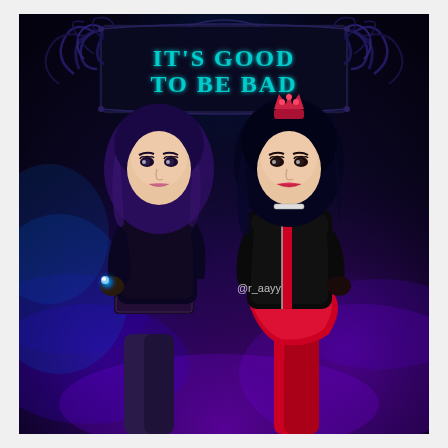[Figure (photo): Promotional photo styled as a Descendants movie poster. Two young women in villain-inspired costumes stand against a dark, moody blue-purple background with ornate scrollwork. Left figure has purple hair, dark jacket, fishnet gloves, holding a glowing blue orb. Right figure has dark blue hair, red and black jacket with heart motif, wearing a crown/hair accessory. Text at top reads 'IT'S GOOD TO BE BAD' in teal letters within a dark ornate frame. Watermark '@r_aayy' visible in center-right area.]